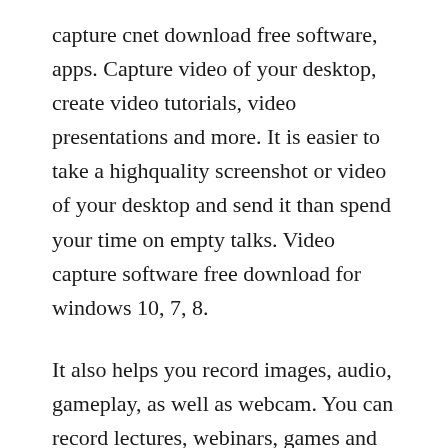capture cnet download free software, apps. Capture video of your desktop, create video tutorials, video presentations and more. It is easier to take a highquality screenshot or video of your desktop and send it than spend your time on empty talks. Video capture software free download for windows 10, 7, 8.
It also helps you record images, audio, gameplay, as well as webcam. You can record lectures, webinars, games and skype calls with the option to add narration from your microphone and video from your webcam,